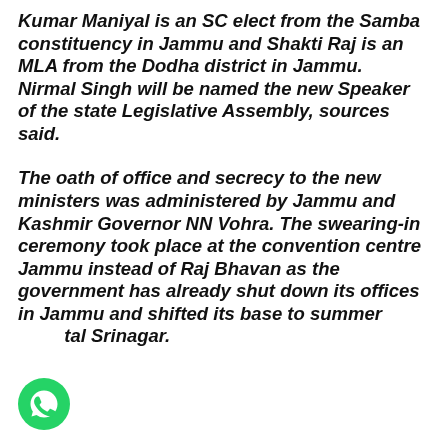Kumar Maniyal is an SC elect from the Samba constituency in Jammu and Shakti Raj is an MLA from the Dodha district in Jammu.
Nirmal Singh will be named the new Speaker of the state Legislative Assembly, sources said.
The oath of office and secrecy to the new ministers was administered by Jammu and Kashmir Governor NN Vohra. The swearing-in ceremony took place at the convention centre Jammu instead of Raj Bhavan as the government has already shut down its offices in Jammu and shifted its base to summer capital Srinagar.
[Figure (logo): WhatsApp logo — green circle with white phone handset icon]